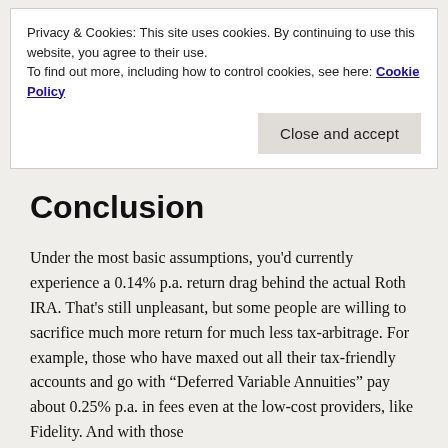Privacy & Cookies: This site uses cookies. By continuing to use this website, you agree to their use.
To find out more, including how to control cookies, see here: Cookie Policy
Close and accept
Conclusion
Under the most basic assumptions, you'd currently experience a 0.14% p.a. return drag behind the actual Roth IRA. That's still unpleasant, but some people are willing to sacrifice much more return for much less tax-arbitrage. For example, those who have maxed out all their tax-friendly accounts and go with “Deferred Variable Annuities” pay about 0.25% p.a. in fees even at the low-cost providers, like Fidelity. And with those